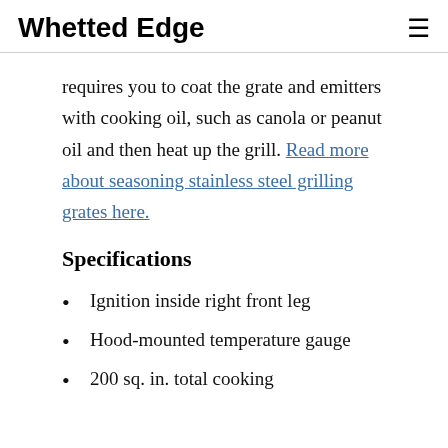Whetted Edge
requires you to coat the grate and emitters with cooking oil, such as canola or peanut oil and then heat up the grill. Read more about seasoning stainless steel grilling grates here.
Specifications
Ignition inside right front leg
Hood-mounted temperature gauge
200 sq. in. total cooking